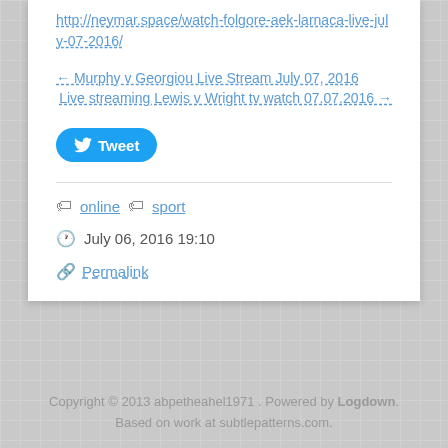http://neymar.space/watch-folgore-aek-larnaca-live-july-07-2016/
← Murphy v Georgiou Live Stream July 07, 2016
Live streaming Lewis v Wright tv watch 07.07.2016 →
[Figure (other): Tweet button with Twitter bird icon]
online   sport
July 06, 2016 19:10
Permalink
Copyright © 2013 abpetheahel1971 . Powered by Logdown. Based on work at subtlepatterns.com.